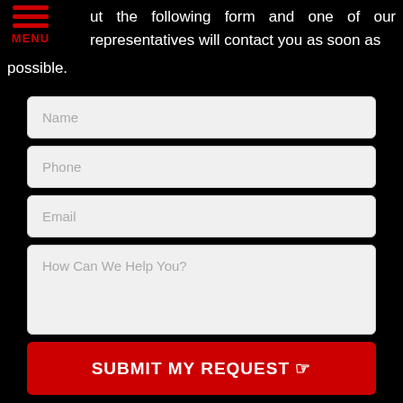ut the following form and one of our representatives will contact you as soon as possible.
[Figure (screenshot): Web contact form with fields: Name, Phone, Email, How Can We Help You?, and a red SUBMIT MY REQUEST button]
Locations Served ▾
[Figure (logo): GC company logo with phone and email icons on black background, red flower icon at left]